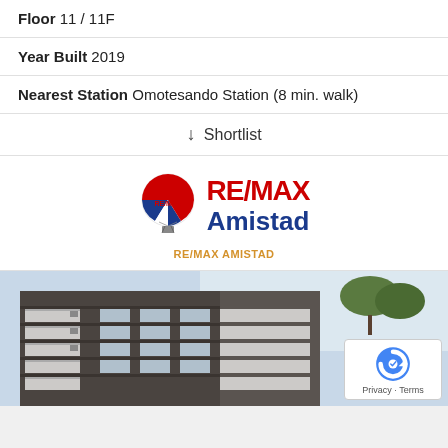Floor 11 / 11F
Year Built 2019
Nearest Station Omotesando Station (8 min. walk)
↓ Shortlist
[Figure (logo): RE/MAX Amistad logo with hot air balloon icon and red text RE/MAX Amistad]
RE/MAX AMISTAD
[Figure (photo): Exterior photo of a multi-story apartment building with balconies, viewed from below at an angle against a light sky]